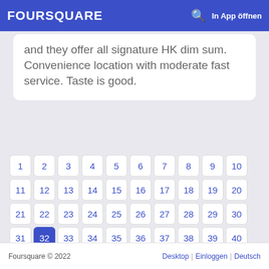FOURSQUARE   In App öffnen
and they offer all signature HK dim sum. Convenience location with moderate fast service. Taste is good.
1 2 3 4 5 6 7 8 9 10 11 12 13 14 15 16 17 18 19 20 21 22 23 24 25 26 27 28 29 30 31 32 33 34 35 36 37 38 39 40 41 42 43 44 45 46 47 48 49 50 51
Foursquare © 2022   Desktop   Einloggen   Deutsch